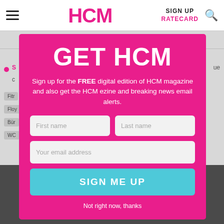HCM | SIGN UP | RATECARD
[Figure (screenshot): HCM magazine website screenshot with navigation header showing HCM logo in pink, SIGN UP and RATECARD links, hamburger menu, and search icon. Background shows article list items and a photo behind a modal overlay.]
GET HCM
Sign up for the FREE digital edition of HCM magazine and also get the HCM ezine and breaking news email alerts.
First name
Last name
Your email address
SIGN ME UP
Not right now, thanks